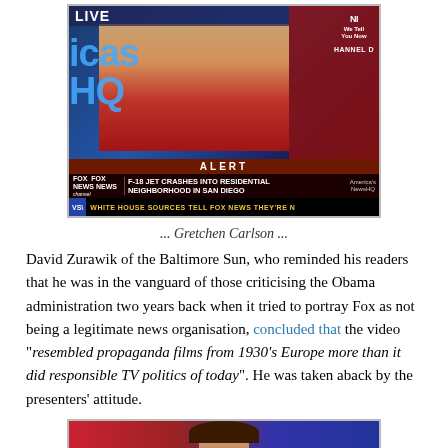[Figure (screenshot): Fox News screenshot showing anchor Gretchen Carlson on America's News HQ with ALERT banner reading 'F-18 JET CRASHES INTO RESIDENTIAL NEIGHBORHOOD IN SAN DIEGO' and ticker 'WHITE HOUSE SOURCES TELL FOX NEWS THEY'RE N']
... Gretchen Carlson ...
David Zurawik of the Baltimore Sun, who reminded his readers that he was in the vanguard of those criticising the Obama administration two years back when it tried to portray Fox as not being a legitimate news organisation, concluded that the video "resembled propaganda films from 1930's Europe more than it did responsible TV politics of today". He was taken aback by the presenters' attitude.
[Figure (screenshot): Partial Fox News screenshot at bottom of page showing another news anchor]